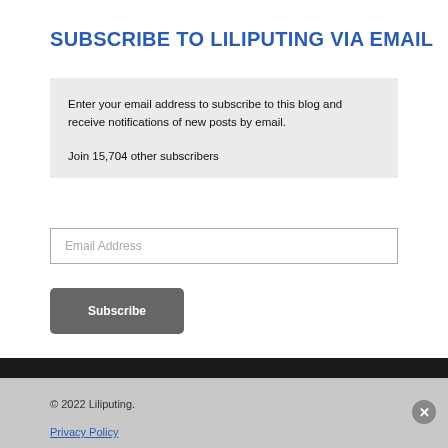SUBSCRIBE TO LILIPUTING VIA EMAIL
Enter your email address to subscribe to this blog and receive notifications of new posts by email.

Join 15,704 other subscribers
Email Address
Subscribe
© 2022 Liliputing.
Privacy Policy